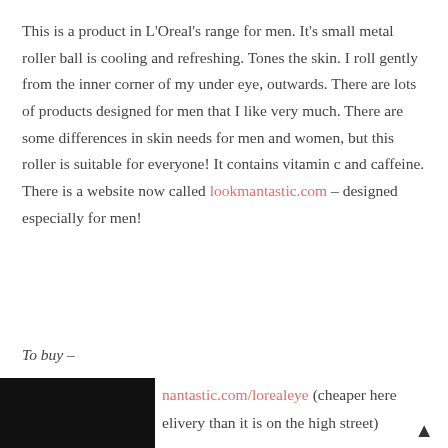This is a product in L'Oreal's range for men. It's small metal roller ball is cooling and refreshing. Tones the skin. I roll gently from the inner corner of my under eye, outwards. There are lots of products designed for men that I like very much. There are some differences in skin needs for men and women, but this roller is suitable for everyone! It contains vitamin c and caffeine. There is a website now called lookmantastic.com – designed especially for men!
To buy –
[Figure (photo): Partially visible product image with black background, lower portion cut off]
mantastic.com/lorealeye (cheaper here
elivery than it is on the high street)